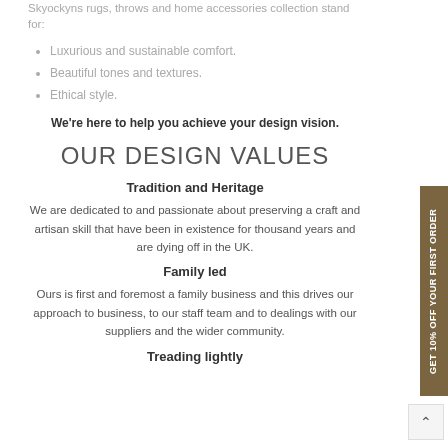Skyockyns rugs, throws and home accessories collection stand for:
Luxurious and sustainable comfort.
Beautiful tones and textures.
Ethical style.
We're here to help you achieve your design vision.
OUR DESIGN VALUES
Tradition and Heritage
We are dedicated to and passionate about preserving a craft and artisan skill that have been in existence for thousand years and are dying off in the UK.
Family led
Ours is first and foremost a family business and this drives our approach to business, to our staff team and to dealings with our suppliers and the wider community.
Treading lightly